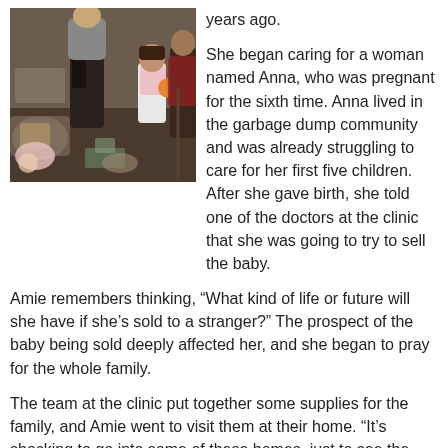[Figure (photo): Photo of people inside a crowded room, likely a home in a garbage dump community. A woman and child are visible among various items.]
years ago.

She began caring for a woman named Anna, who was pregnant for the sixth time. Anna lived in the garbage dump community and was already struggling to care for her first five children. After she gave birth, she told one of the doctors at the clinic that she was going to try to sell the baby.
Amie remembers thinking, “What kind of life or future will she have if she’s sold to a stranger?” The prospect of the baby being sold deeply affected her, and she began to pray for the whole family.
The team at the clinic put together some supplies for the family, and Amie went to visit them at their home. “It’s shocking to go into some of these homes, just to see the conditions that they’re living in,” she admits. “But, at the same time, it just felt like it would be better to be with her